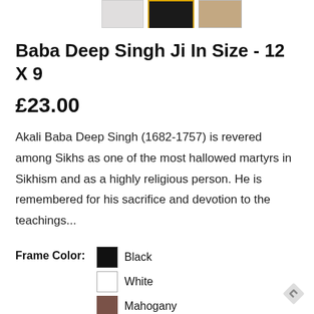[Figure (photo): Three product thumbnail images of framed artwork. Left thumbnail has light/white frame, center thumbnail is active with gold/yellow border and dark frame showing framed portrait, right thumbnail has a tan/brown frame.]
Baba Deep Singh Ji In Size - 12 X 9
£23.00
Akali Baba Deep Singh (1682-1757) is revered among Sikhs as one of the most hallowed martyrs in Sikhism and as a highly religious person. He is remembered for his sacrifice and devotion to the teachings...
Frame Color: Black, White, Mahogany